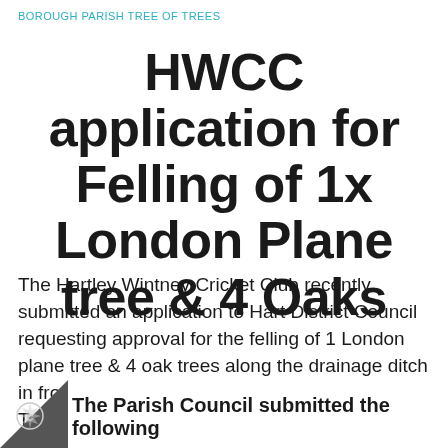BOROUGH PARISH TREE OF TREES
HWCC application for Felling of 1x London Plane tree & 4 Oaks
The Hartley Wintney Cricket Club recently submitted an application to Hart District Council requesting approval for the felling of 1 London plane tree & 4 oak trees along the drainage ditch in front of the Cricketers pub on Oakland Terrace.
The Parish Council submitted the following